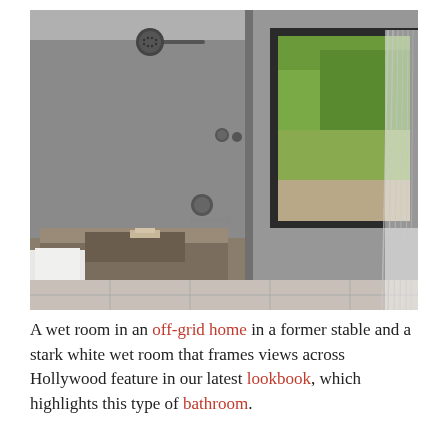[Figure (photo): A minimalist wet room bathroom interior with concrete/plaster walls, a rough stone/concrete sink basin with chrome wall-mounted faucet and white towel draped over the edge, an overhead rain shower head, a large window with dark frame showing greenery outside, and white sheer curtains hanging to the right.]
A wet room in an off-grid home in a former stable and a stark white wet room that frames views across Hollywood feature in our latest lookbook, which highlights this type of bathroom.